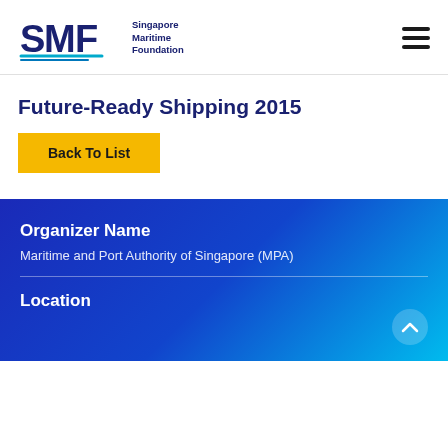[Figure (logo): Singapore Maritime Foundation (SMF) logo with blue stylized letters and swoosh graphic, with text 'Singapore Maritime Foundation' to the right]
Future-Ready Shipping 2015
Back To List
Organizer Name
Maritime and Port Authority of Singapore (MPA)
Location